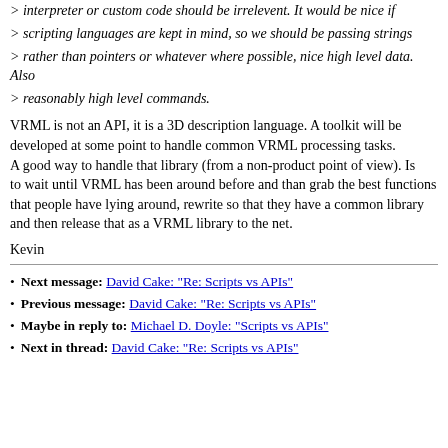> interpreter or custom code should be irrelevent. It would be nice if
> scripting languages are kept in mind, so we should be passing strings
> rather than pointers or whatever where possible, nice high level data. Also
> reasonably high level commands.
VRML is not an API, it is a 3D description language. A toolkit will be developed at some point to handle common VRML processing tasks.
A good way to handle that library (from a non-product point of view). Is
to wait until VRML has been around before and than grab the best functions that people have lying around, rewrite so that they have a common library and then release that as a VRML library to the net.
Kevin
Next message: David Cake: "Re: Scripts vs APIs"
Previous message: David Cake: "Re: Scripts vs APIs"
Maybe in reply to: Michael D. Doyle: "Scripts vs APIs"
Next in thread: David Cake: "Re: Scripts vs APIs"